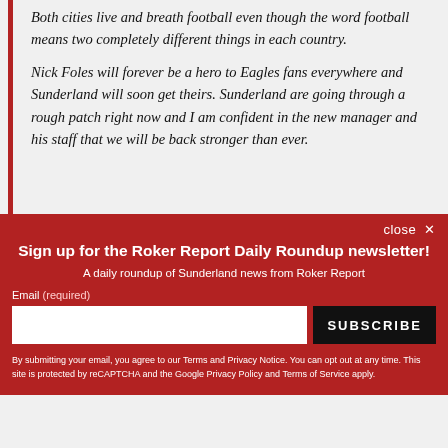Both cities live and breath football even though the word football means two completely different things in each country.

Nick Foles will forever be a hero to Eagles fans everywhere and Sunderland will soon get theirs. Sunderland are going through a rough patch right now and I am confident in the new manager and his staff that we will be back stronger than ever.
close ×
Sign up for the Roker Report Daily Roundup newsletter!
A daily roundup of Sunderland news from Roker Report
Email (required)
SUBSCRIBE
By submitting your email, you agree to our Terms and Privacy Notice. You can opt out at any time. This site is protected by reCAPTCHA and the Google Privacy Policy and Terms of Service apply.